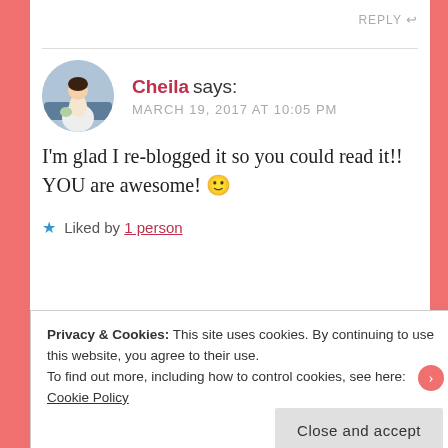REPLY ↩
[Figure (photo): Circular avatar photo of a woman in a white wedding dress holding a bouquet, standing near a blue car]
Cheila says: MARCH 19, 2017 AT 10:05 PM
I'm glad I re-blogged it so you could read it!! YOU are awesome! 🙂
★ Liked by 1 person
REPLY ↩
Privacy & Cookies: This site uses cookies. By continuing to use this website, you agree to their use.
To find out more, including how to control cookies, see here:
Cookie Policy
Close and accept